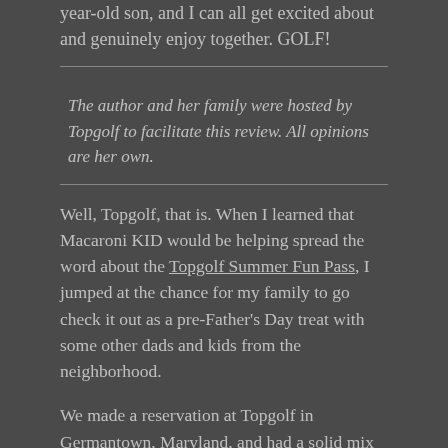year-old son, and I can all get excited about and genuinely enjoy together. GOLF!
The author and her family were hosted by Topgolf to facilitate this review. All opinions are her own.
Well, Topgolf, that is. When I learned that Macaroni KID would be helping spread the word about the Topgolf Summer Fun Pass, I jumped at the chance for my family to go check it out as a pre-Father's Day treat with some other dads and kids from the neighborhood.
We made a reservation at Topgolf in Germantown, Maryland, and had a solid mix of ages and experience levels. My kids had never picked up a